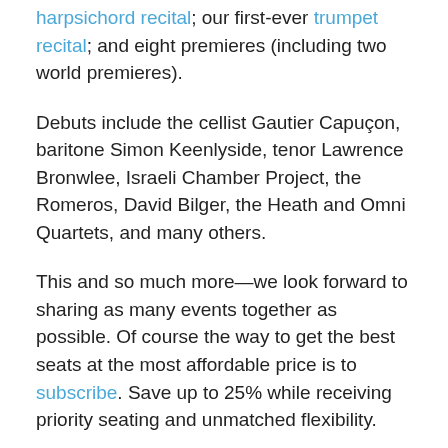harpsichord recital; our first-ever trumpet recital; and eight premieres (including two world premieres).
Debuts include the cellist Gautier Capuçon, baritone Simon Keenlyside, tenor Lawrence Bronwlee, Israeli Chamber Project, the Romeros, David Bilger, the Heath and Omni Quartets, and many others.
This and so much more—we look forward to sharing as many events together as possible. Of course the way to get the best seats at the most affordable price is to subscribe. Save up to 25% while receiving priority seating and unmatched flexibility.
Explore our season brochure online today or contact us to request a copy by mail. We hope you can join us often!